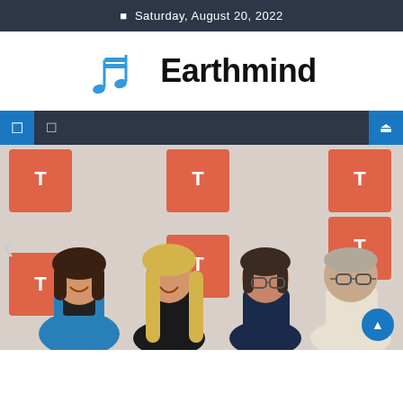Saturday, August 20, 2022
[Figure (logo): Earthmind logo with blue musical notes icon and bold text 'Earthmind']
[Figure (photo): Four people standing in front of a backdrop with red and white school/sports logos. From left: woman in blue blazer, young woman with long blonde hair in black outfit, woman with glasses in dark top, older man with glasses in light polo shirt.]